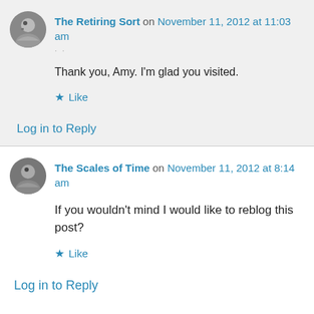The Retiring Sort on November 11, 2012 at 11:03 am
Thank you, Amy. I'm glad you visited.
Like
Log in to Reply
The Scales of Time on November 11, 2012 at 8:14 am
If you wouldn't mind I would like to reblog this post?
Like
Log in to Reply